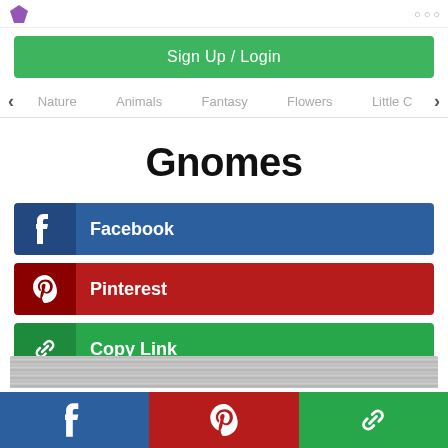Logo / navigation header
Sign Up / Login
Nature
Animals
Fantasy
Flowers
Little C
Gnomes
Facebook
Pinterest
Copy Link
Facebook | Pinterest | Copy Link footer bar